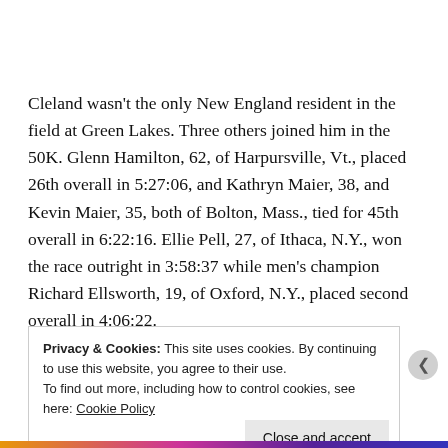Cleland wasn't the only New England resident in the field at Green Lakes. Three others joined him in the 50K. Glenn Hamilton, 62, of Harpursville, Vt., placed 26th overall in 5:27:06, and Kathryn Maier, 38, and Kevin Maier, 35, both of Bolton, Mass., tied for 45th overall in 6:22:16. Ellie Pell, 27, of Ithaca, N.Y., won the race outright in 3:58:37 while men's champion Richard Ellsworth, 19, of Oxford, N.Y., placed second overall in 4:06:22.
Privacy & Cookies: This site uses cookies. By continuing to use this website, you agree to their use. To find out more, including how to control cookies, see here: Cookie Policy
Close and accept